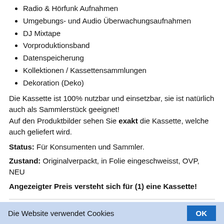Radio & Hörfunk Aufnahmen
Umgebungs- und Audio Überwachungsaufnahmen
DJ Mixtape
Vorproduktionsband
Datenspeicherung
Kollektionen / Kassettensammlungen
Dekoration (Deko)
Die Kassette ist 100% nutzbar und einsetzbar, sie ist natürlich auch als Sammlerstück geeignet!
Auf den Produktbilder sehen Sie exakt die Kassette, welche auch geliefert wird.
Status: Für Konsumenten und Sammler.
Zustand: Originalverpackt, in Folie eingeschweisst, OVP, NEU
Angezeigter Preis versteht sich für (1) eine Kassette!
Brand / manufacturer: AKYO
Model / type: FE-60
Advertising slogans: FERRO / FE
Die Website verwendet Cookies